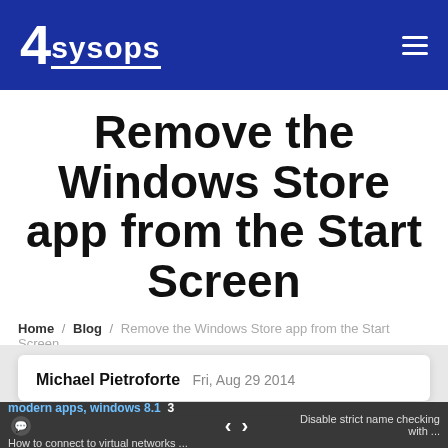4sysops
Remove the Windows Store app from the Start Screen
Home / Blog / Remove the Windows Store app from the Start Screen
4sysops - The online community for SysAdmins and DevOps
Michael Pietroforte  Fri, Aug 29 2014
modern apps, windows 8.1  3  How to connect to virtual networks ...  Disable strict name checking with ...